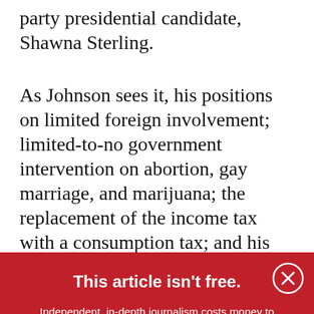party presidential candidate, Shawna Sterling.
As Johnson sees it, his positions on limited foreign involvement; limited-to-no government intervention on abortion, gay marriage, and marijuana; the replacement of the income tax with a consumption tax; and his support for
This article isn't free.
Independent, in-depth journalism costs money to produce. MinnPost's nonprofit reporting is available paywall-free thanks to the financial support of loyal readers like you. Will you make a tax-deductible donation today?
DONATE NOW